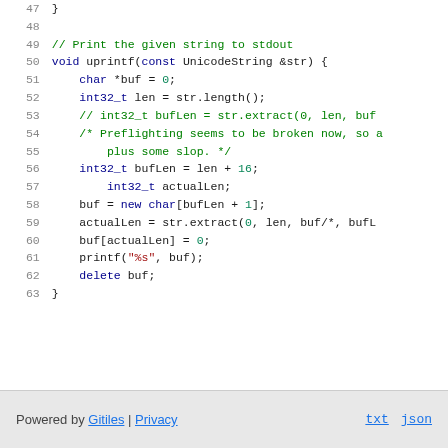[Figure (screenshot): Source code viewer showing lines 47-63 of C++ code with syntax highlighting. Line 47: closing brace. Line 48: blank. Line 49: comment '// Print the given string to stdout'. Line 50: void uprintf function declaration. Lines 51-62: function body with char buffer, int32_t operations, new/delete. Line 63: closing brace.]
Powered by Gitiles | Privacy    txt  json